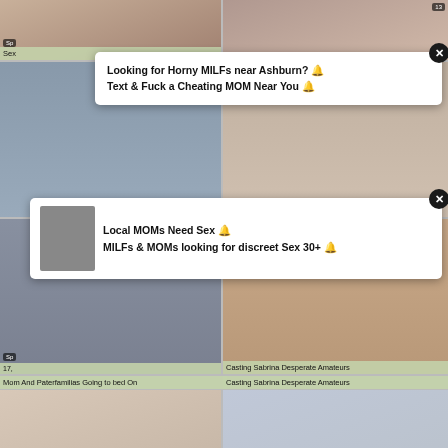[Figure (screenshot): Video thumbnail grid - top left partial thumbnail]
[Figure (screenshot): Video thumbnail grid - top right partial thumbnail with views count 13]
[Figure (screenshot): Ad overlay 1: Looking for Horny MILFs near Ashburn? Text & Fuck a Cheating MOM Near You]
[Figure (screenshot): Video thumbnail - left second row, woman in chair]
[Figure (screenshot): Video thumbnail - right second row]
Mom And Paterfamilias Going to bed On
Casting Sabrina Desperate Amateurs
[Figure (screenshot): Ad overlay 2: Local MOMs Need Sex. MILFs & MOMs looking for discreet Sex 30+]
Sp  17,
[Figure (screenshot): Video thumbnail - Old Man With Big Dick blowjob, Spankwire cumshot, 37:08]
Old Man With Big Dick blowjob
[Figure (screenshot): Video thumbnail - Big Ass Blonde Confessed She Fucks, Spankwire blowjob, 9:06]
Big Ass Blonde Confessed She Fucks
[Figure (screenshot): Bottom partial thumbnail left]
[Figure (screenshot): Bottom partial thumbnail right]